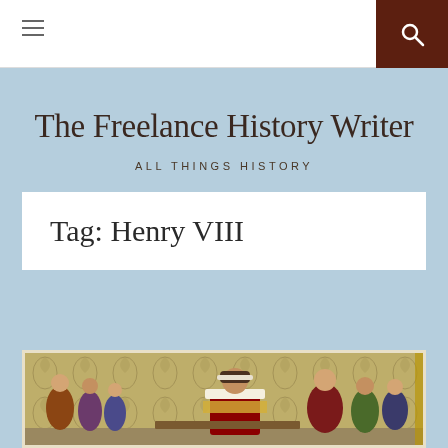≡  🔍
The Freelance History Writer
ALL THINGS HISTORY
Tag: Henry VIII
[Figure (illustration): Historical color illustration depicting Henry VIII seated in royal robes and fur-trimmed hat, surrounded by courtiers and clergy in an ornate interior setting]